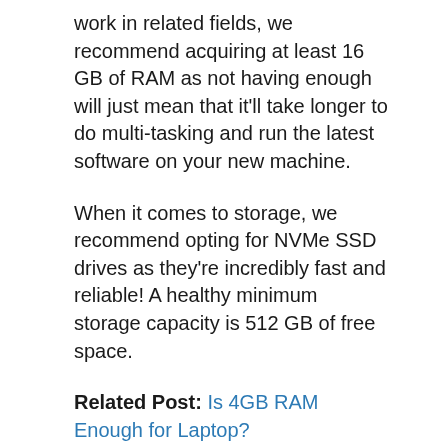work in related fields, we recommend acquiring at least 16 GB of RAM as not having enough will just mean that it'll take longer to do multi-tasking and run the latest software on your new machine.
When it comes to storage, we recommend opting for NVMe SSD drives as they're incredibly fast and reliable! A healthy minimum storage capacity is 512 GB of free space.
Related Post: Is 4GB RAM Enough for Laptop?
Display
Computer science students use their laptops